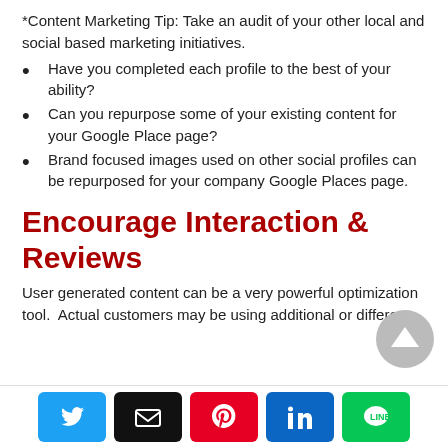*Content Marketing Tip: Take an audit of your other local and social based marketing initiatives.
Have you completed each profile to the best of your ability?
Can you repurpose some of your existing content for your Google Place page?
Brand focused images used on other social profiles can be repurposed for your company Google Places page.
Encourage Interaction & Reviews
User generated content can be a very powerful optimization tool.  Actual customers may be using additional or different
Twitter | Email | Pinterest | LinkedIn | LINE